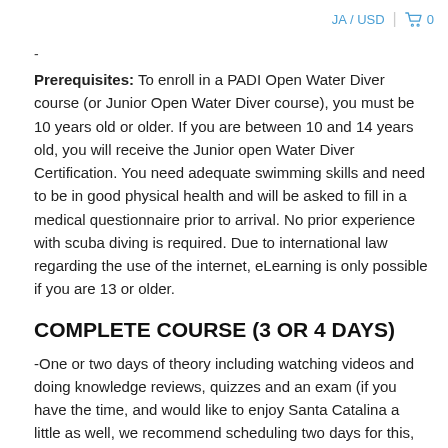JA / USD  🛒 0
-
Prerequisites: To enroll in a PADI Open Water Diver course (or Junior Open Water Diver course), you must be 10 years old or older. If you are between 10 and 14 years old, you will receive the Junior open Water Diver Certification. You need adequate swimming skills and need to be in good physical health and will be asked to fill in a medical questionnaire prior to arrival. No prior experience with scuba diving is required. Due to international law regarding the use of the internet, eLearning is only possible if you are 13 or older.
COMPLETE COURSE (3 OR 4 DAYS)
-One or two days of theory including watching videos and doing knowledge reviews, quizzes and an exam (if you have the time, and would like to enjoy Santa Catalina a little as well, we recommend scheduling two days for this, so coming a day earlier, otherwise it's an early start and a full day of studying).